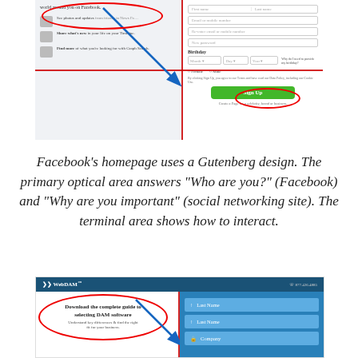[Figure (screenshot): Facebook homepage screenshot with Gutenberg design overlay: red crosshair lines dividing the page into quadrants, a blue diagonal arrow, and red ovals highlighting the top-left area (primary optical area) and the Sign Up button (terminal area).]
Facebook’s homepage uses a Gutenberg design. The primary optical area answers “Who are you?” (Facebook) and “Why are you important” (social networking site). The terminal area shows how to interact.
[Figure (screenshot): WebDAM homepage screenshot with Gutenberg design overlay: red vertical line, blue diagonal arrow, red oval around headline ‘Download the complete guide to selecting DAM software’ on the left, and blue input fields for Last Name, Last Name, Company on the right.]